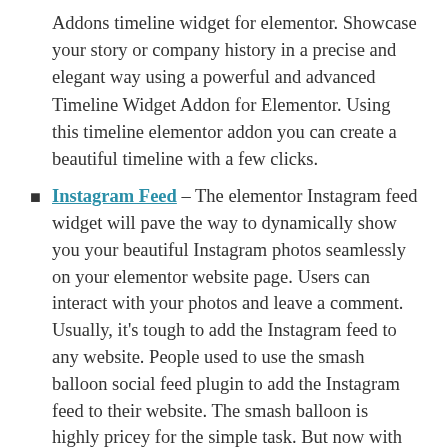Addons timeline widget for elementor. Showcase your story or company history in a precise and elegant way using a powerful and advanced Timeline Widget Addon for Elementor. Using this timeline elementor addon you can create a beautiful timeline with a few clicks.
Instagram Feed – The elementor Instagram feed widget will pave the way to dynamically show you your beautiful Instagram photos seamlessly on your elementor website page. Users can interact with your photos and leave a comment. Usually, it's tough to add the Instagram feed to any website. People used to use the smash balloon social feed plugin to add the Instagram feed to their website. The smash balloon is highly pricey for the simple task. But now with the help of the Happy Elementor addons Instagram feed widget for elementor you can easily add your elementor website. You don't have to spend extra money on